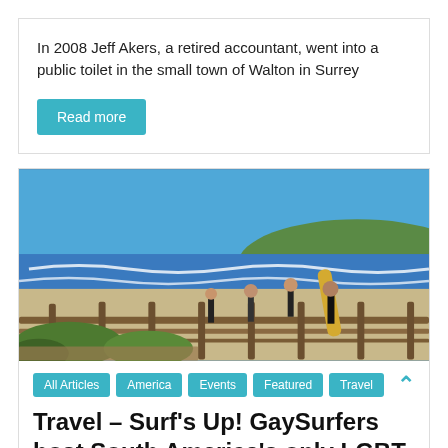In 2008 Jeff Akers, a retired accountant, went into a public toilet in the small town of Walton in Surrey
Read more
[Figure (photo): Surfers at a beach with wooden walkway/railing in foreground, ocean waves, green hilly coastline in background, blue sky. Several people carrying surfboards.]
All Articles
America
Events
Featured
Travel
Travel – Surf's Up! GaySurfers host South America's only LGBT surf camp